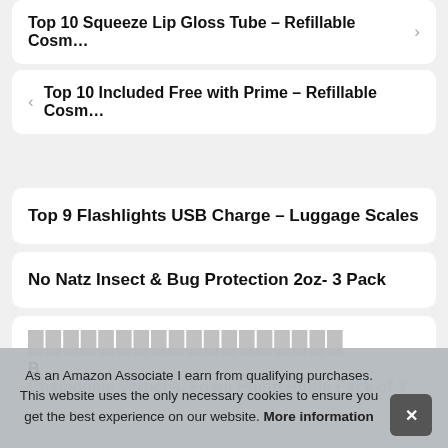Top 10 Squeeze Lip Gloss Tube – Refillable Cosm…
< Top 10 Included Free with Prime – Refillable Cosm…
Top 9 Flashlights USB Charge – Luggage Scales
No Natz Insect & Bug Protection 2oz- 3 Pack
As an Amazon Associate I earn from qualifying purchases. This website uses the only necessary cookies to ensure you get the best experience on our website. More information